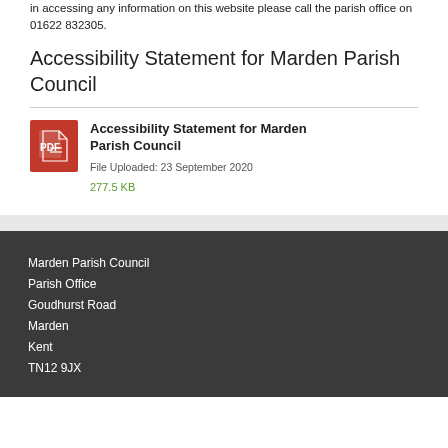in accessing any information on this website please call the parish office on 01622 832305.
Accessibility Statement for Marden Parish Council
[Figure (other): PDF document icon in red]
Accessibility Statement for Marden Parish Council
File Uploaded: 23 September 2020
277.5 KB
Marden Parish Council
Parish Office
Goudhurst Road
Marden
Kent
TN12 9JX